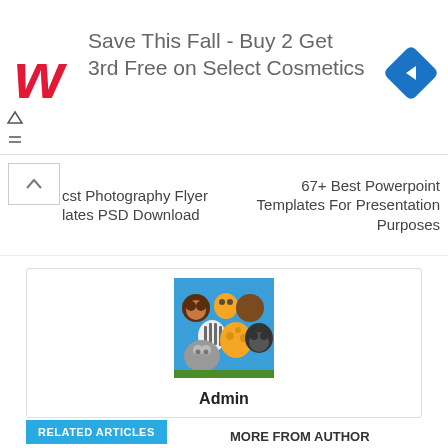[Figure (other): Walgreens advertisement banner: Walgreens logo on left, text 'Save This Fall - Buy 2 Get 3rd Free on Select Cosmetics', blue diamond navigation icon on right]
cst Photography Flyer lates PSD Download
67+ Best Powerpoint Templates For Presentation Purposes
[Figure (illustration): Cartoon illustration of zoo animals including monkey, giraffe, zebra, elephant, gorilla, and brown bear on blue background]
Admin
RELATED ARTICLES
MORE FROM AUTHOR